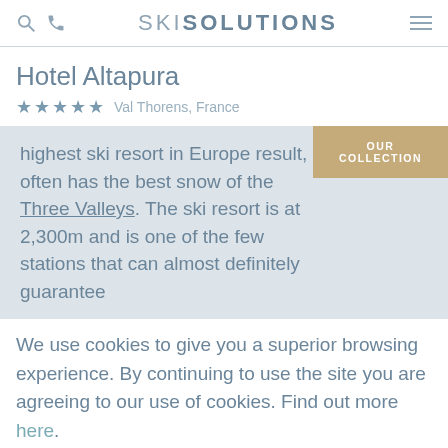SKI SOLUTIONS
Hotel Altapura
★★★★★  Val Thorens, France
highest ski resort in Europe result, it often has the best snow of the Three Valleys. The ski resort is at 2,300m and is one of the few stations that can almost definitely guarantee
OUR COLLECTION
We use cookies to give you a superior browsing experience. By continuing to use the site you are agreeing to our use of cookies. Find out more here.
Accept